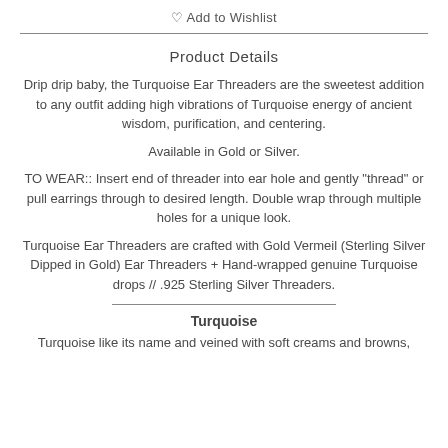♡ Add to Wishlist
Product Details
Drip drip baby, the Turquoise Ear Threaders are the sweetest addition to any outfit adding high vibrations of Turquoise energy of ancient wisdom, purification, and centering.
Available in Gold or Silver.
TO WEAR:: Insert end of threader into ear hole and gently "thread" or pull earrings through to desired length. Double wrap through multiple holes for a unique look.
Turquoise Ear Threaders are crafted with Gold Vermeil (Sterling Silver Dipped in Gold) Ear Threaders + Hand-wrapped genuine Turquoise drops // .925 Sterling Silver Threaders.
Turquoise
Turquoise like its name and veined with soft creams and browns,